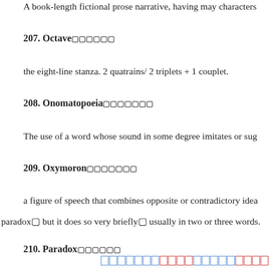A book-length fictional prose narrative, having may characters
207. Octave — the eight-line stanza. 2 quatrains/ 2 triplets + 1 couplet.
208. Onomatopoeia — The use of a word whose sound in some degree imitates or suggests
209. Oxymoron — a figure of speech that combines opposite or contradictory ideas; paradox, but it does so very briefly, usually in two or three words.
210. Paradox — A statement that reveals a kind of truth, although it seems at fi